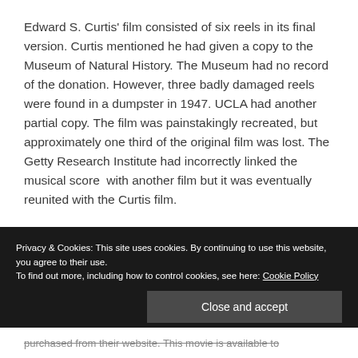Edward S. Curtis' film consisted of six reels in its final version. Curtis mentioned he had given a copy to the Museum of Natural History. The Museum had no record of the donation. However, three badly damaged reels were found in a dumpster in 1947. UCLA had another partial copy. The film was painstakingly recreated, but approximately one third of the original film was lost. The Getty Research Institute had incorrectly linked the musical score with another film but it was eventually reunited with the Curtis film.
Privacy & Cookies: This site uses cookies. By continuing to use this website, you agree to their use. To find out more, including how to control cookies, see here: Cookie Policy
purchased from their website. This movie is available to